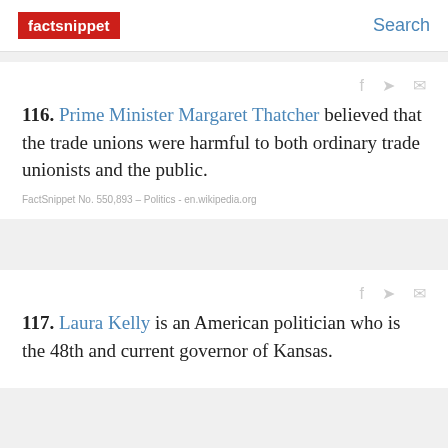factsnippet | Search
116. Prime Minister Margaret Thatcher believed that the trade unions were harmful to both ordinary trade unionists and the public.
FactSnippet No. 550,893 – Politics - en.wikipedia.org
117. Laura Kelly is an American politician who is the 48th and current governor of Kansas.